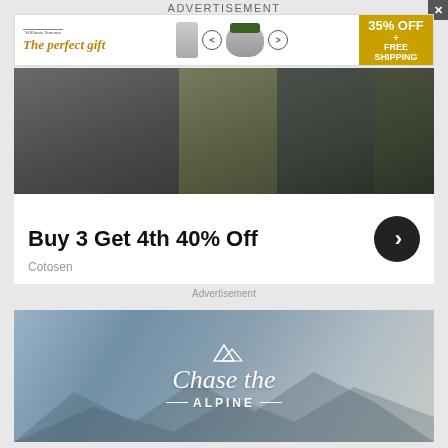ADVERTISEMENT
[Figure (infographic): The Williams Sonoma 'The perfect gift' banner ad with navigation arrows, kitchen appliance images, and '35% OFF + FREE SHIPPING' gold promotional badge]
[Figure (infographic): Cotosen clothing ad showing military-style jackets and hoodies with 'Buy 3 Get 4th 40% Off' promotional text and arrow button, brand name Cotosen]
Advertisement
[Figure (photo): Chase the Alpine outdoor/adventure brand banner showing mountain landscape with cursive 'Chase the' and '=ALPINE=' text overlay]